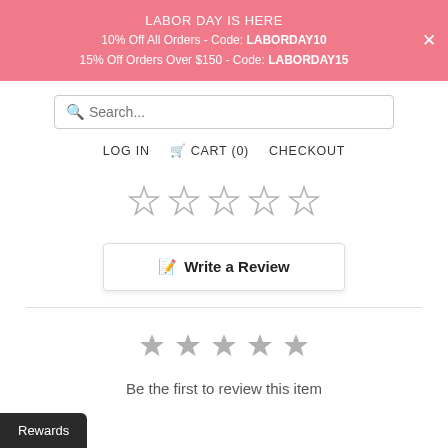LABOR DAY IS HERE
10% Off All Orders - Code: LABORDAY10
15% Off Orders Over $150 - Code: LABORDAY15
Search...
LOG IN   🛒 CART (0)   CHECKOUT
[Figure (other): Five empty outline star rating icons]
Write a Review
[Figure (other): Five filled grey star rating icons]
Be the first to review this item
Rewards